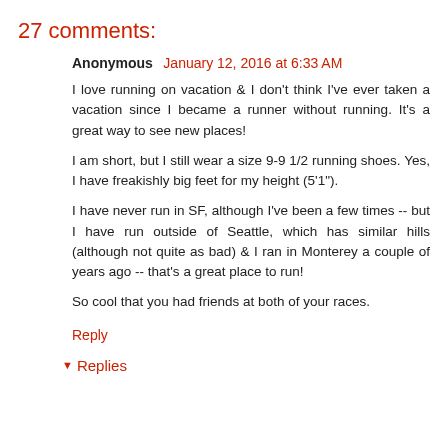27 comments:
Anonymous January 12, 2016 at 6:33 AM
I love running on vacation & I don't think I've ever taken a vacation since I became a runner without running. It's a great way to see new places!
I am short, but I still wear a size 9-9 1/2 running shoes. Yes, I have freakishly big feet for my height (5'1").
I have never run in SF, although I've been a few times -- but I have run outside of Seattle, which has similar hills (although not quite as bad) & I ran in Monterey a couple of years ago -- that's a great place to run!
So cool that you had friends at both of your races.
Reply
Replies